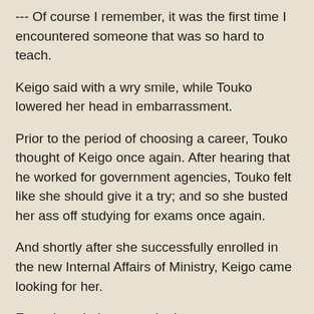--- Of course I remember, it was the first time I encountered someone that was so hard to teach.
Keigo said with a wry smile, while Touko lowered her head in embarrassment.
Prior to the period of choosing a career, Touko thought of Keigo once again. After hearing that he worked for government agencies, Touko felt like she should give it a try; and so she busted her ass off studying for exams once again.
And shortly after she successfully enrolled in the new Internal Affairs of Ministry, Keigo came looking for her.
Even though they were both government officials, Touko had never thought that they would have the opportunity to meet each other again. The fact that Keigo came looking for her had made her really surprised, and not to mention when that he invited her to join an unknown organization to help him out, she was really stunned. When Touko asked him about the reason why, Keigo laughed with his usual shallow smile